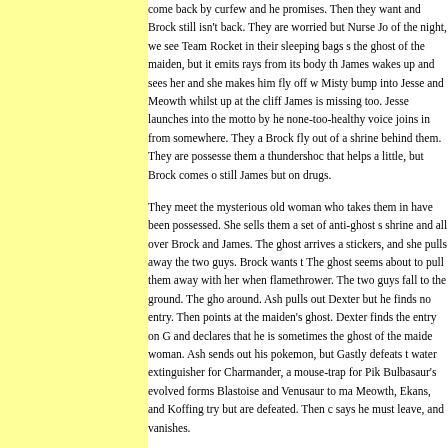come back by curfew and he promises. Then they wait and Brock still isn't back. They are worried but Nurse Jo of the night, we see Team Rocket in their sleeping bags s the ghost of the maiden, but it emits rays from its body th James wakes up and sees her and she makes him fly off w Misty bump into Jesse and Meowth whilst up at the cliff James is missing too. Jesse launches into the motto by he none-too-healthy voice joins in from somewhere. They a Brock fly out of a shrine behind them. They are possesse them a thundershoc that helps a little, but Brock comes o still James but on drugs.
They meet the mysterious old woman who takes them in have been possessed. She sells them a set of anti-ghost s shrine and all over Brock and James. The ghost arrives a stickers, and she pulls away the two guys. Brock wants t The ghost seems about to pull them away with her when flamethrower. The two guys fall to the ground. The gho around. Ash pulls out Dexter but he finds no entry. Then points at the maiden's ghost. Dexter finds the entry on G and declares that he is sometimes the ghost of the maide woman. Ash sends out his pokemon, but Gastly defeats t water extinguisher for Charmander, a mouse-trap for Pik Bulbasaur's evolved forms Blastoise and Venusaur to ma Meowth, Ekans, and Koffing try but are defeated. Then c says he must leave, and vanishes.
Later we see Ash, Misty, Brock, Jenny, and Joy watching toward the ocean. Jenny explains that they are to guide w